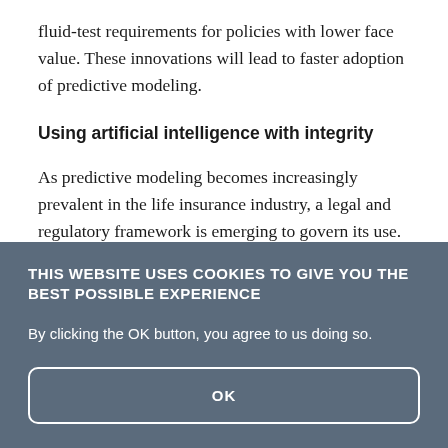fluid-test requirements for policies with lower face value. These innovations will lead to faster adoption of predictive modeling.
Using artificial intelligence with integrity
As predictive modeling becomes increasingly prevalent in the life insurance industry, a legal and regulatory framework is emerging to govern its use. For example, the National Association of Insurance Commissioners (NAIC) has adopted
[Figure (screenshot): Cookie consent overlay banner with dark blue-grey background. Title: 'THIS WEBSITE USES COOKIES TO GIVE YOU THE BEST POSSIBLE EXPERIENCE'. Body text: 'By clicking the OK button, you agree to us doing so.' Button with white border labeled 'OK'.]